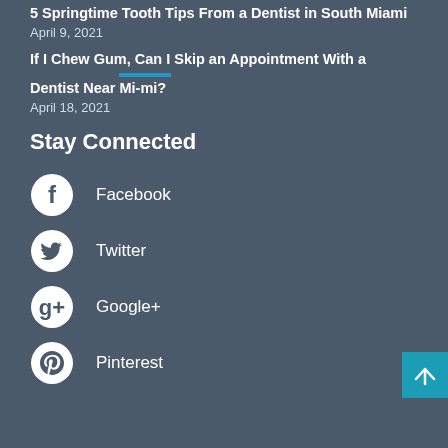5 Springtime Tooth Tips From a Dentist in South Miami
April 9, 2021
If I Chew Gum, Can I Skip an Appointment With a Dentist Near Mi-mi?
April 18, 2021
Stay Connected
Facebook
Twitter
Google+
Pinterest